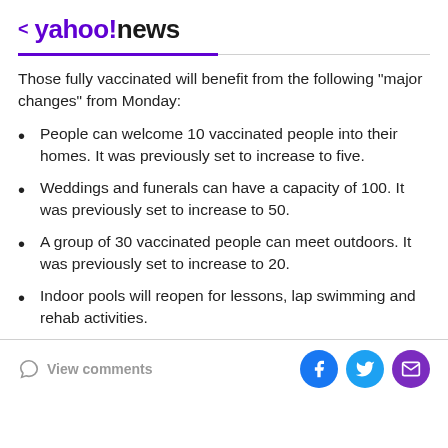< yahoo!news
Those fully vaccinated will benefit from the following "major changes" from Monday:
People can welcome 10 vaccinated people into their homes. It was previously set to increase to five.
Weddings and funerals can have a capacity of 100. It was previously set to increase to 50.
A group of 30 vaccinated people can meet outdoors. It was previously set to increase to 20.
Indoor pools will reopen for lessons, lap swimming and rehab activities.
View comments